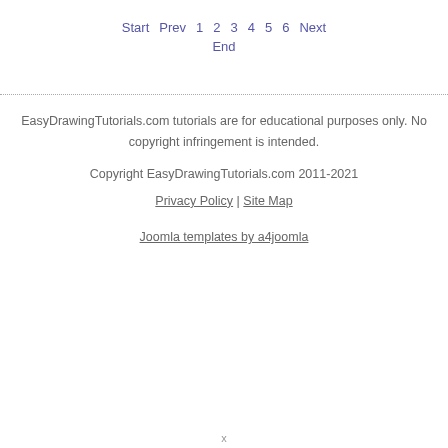Start  Prev  1  2  3  4  5  6  Next
End
EasyDrawingTutorials.com tutorials are for educational purposes only. No copyright infringement is intended.
Copyright EasyDrawingTutorials.com 2011-2021
Privacy Policy | Site Map
Joomla templates by a4joomla